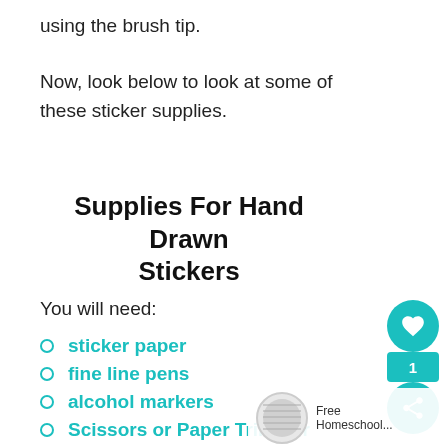using the brush tip.
Now, look below to look at some of these sticker supplies.
Supplies For Hand Drawn Stickers
You will need:
sticker paper
fine line pens
alcohol markers
Scissors or Paper Trimmer